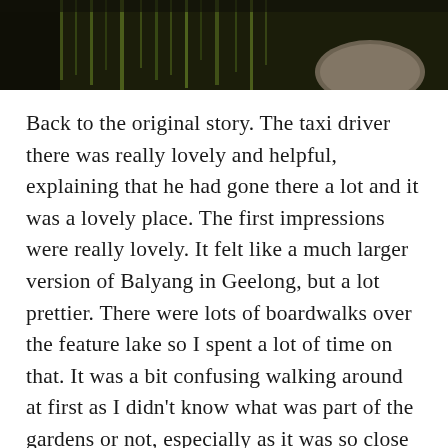[Figure (photo): A photograph showing dark foliage including tall grass or reeds and a rock, with dark tones, cropped at the top of the page.]
Back to the original story. The taxi driver there was really lovely and helpful, explaining that he had gone there a lot and it was a lovely place. The first impressions were really lovely. It felt like a much larger version of Balyang in Geelong, but a lot prettier. There were lots of boardwalks over the feature lake so I spent a lot of time on that. It was a bit confusing walking around at first as I didn't know what was part of the gardens or not, especially as it was so close to a main road.